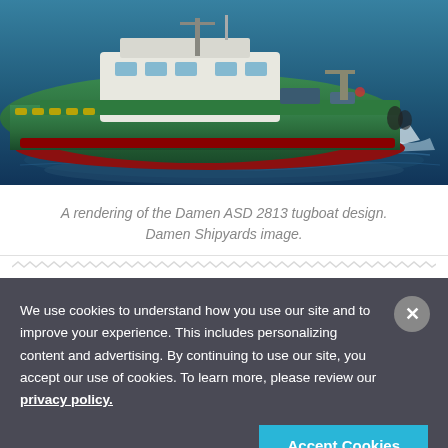[Figure (illustration): A 3D rendering of the Damen ASD 2813 tugboat, green and white vessel with red hull stripe, floating on dark ocean water with wake/splash effects visible.]
A rendering of the Damen ASD 2813 tugboat design. Damen Shipyards image.
We use cookies to understand how you use our site and to improve your experience. This includes personalizing content and advertising. By continuing to use our site, you accept our use of cookies. To learn more, please review our privacy policy.